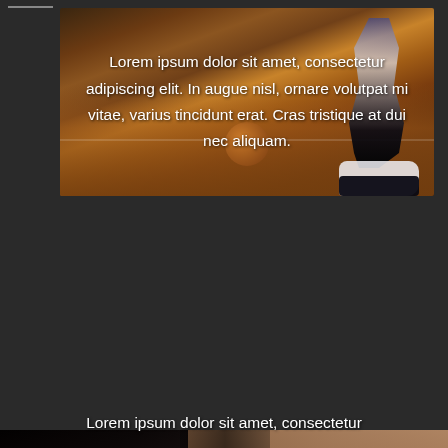[Figure (photo): Basketball player dribbling on a court with wooden floor, dark dramatic lighting, player wearing white jersey, another player in blue visible. Text overlay with Lorem ipsum quote.]
Lorem ipsum dolor sit amet, consectetur adipiscing elit. In augue nisl, ornare volutpat mi vitae, varius tincidunt erat. Cras tristique at dui nec aliquam.
[Figure (photo): Fitness photo showing athletic woman from behind in red sports bra on the left, and muscular man from front on the right, dark background with PERSONAL TRAINING watermark text. Lorem ipsum text at bottom.]
Lorem ipsum dolor sit amet, consectetur